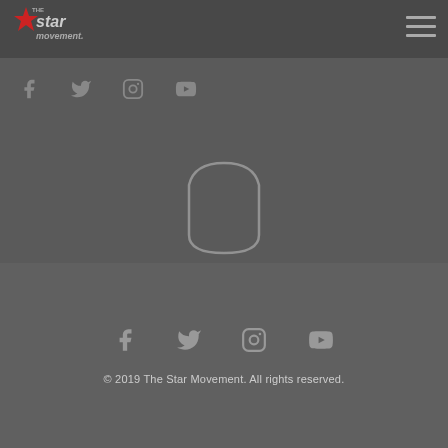[Figure (logo): The Star Movement logo with star icon and stylized text]
[Figure (other): Hamburger menu icon (three horizontal lines)]
[Figure (other): Social media icons row: Facebook, Twitter, Instagram, YouTube]
[Figure (other): Hexagon/house shape outline in light gray]
[Figure (other): Footer social media icons row: Facebook, Twitter, Instagram, YouTube]
© 2019 The Star Movement. All rights reserved.